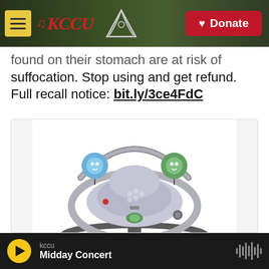KCCU | Donate
found on their stomach are at risk of suffocation. Stop using and get refund. Full recall notice: bit.ly/3ce4FdC
[Figure (photo): Baby swing / infant rocker product photo — a Fisher-Price style baby glider with padded seat, toy bar with two hanging toys (blue and green), and a dark gray base with rocker platform.]
kccu | Midday Concert